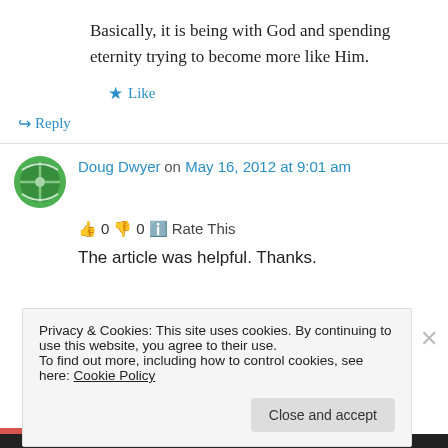Basically, it is being with God and spending eternity trying to become more like Him.
★ Like
↪ Reply
Doug Dwyer on May 16, 2012 at 9:01 am
👍 0 👎 0 ℹ Rate This
The article was helpful. Thanks.
Privacy & Cookies: This site uses cookies. By continuing to use this website, you agree to their use.
To find out more, including how to control cookies, see here: Cookie Policy
Close and accept